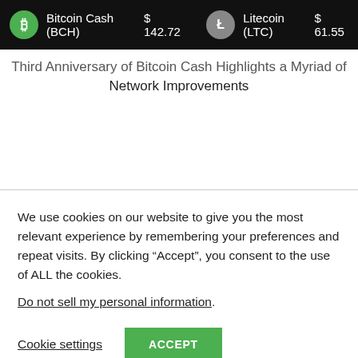Bitcoin Cash (BCH) $142.72   Litecoin (LTC) $61.55
Third Anniversary of Bitcoin Cash Highlights a Myriad of Network Improvements
We use cookies on our website to give you the most relevant experience by remembering your preferences and repeat visits. By clicking “Accept”, you consent to the use of ALL the cookies.
Do not sell my personal information.
Cookie settings   ACCEPT